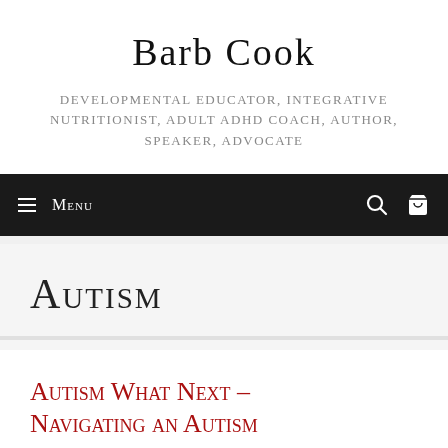Barb Cook
Developmental Educator, Integrative Nutritionist, Adult ADHD Coach, Author, Speaker, Advocate
Menu
Autism
Autism What Next – Navigating an Autism